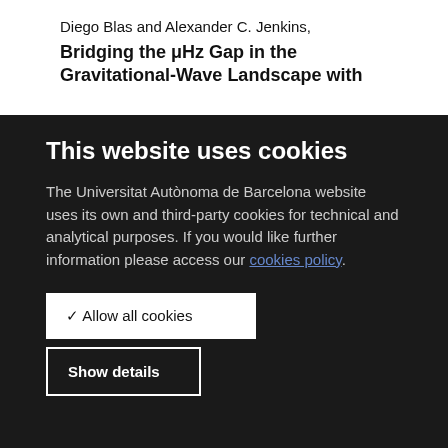Diego Blas and Alexander C. Jenkins,
Bridging the μHz Gap in the Gravitational-Wave Landscape with
This website uses cookies
The Universitat Autònoma de Barcelona website uses its own and third-party cookies for technical and analytical purposes. If you would like further information please access our cookies policy.
✓ Allow all cookies
Show details